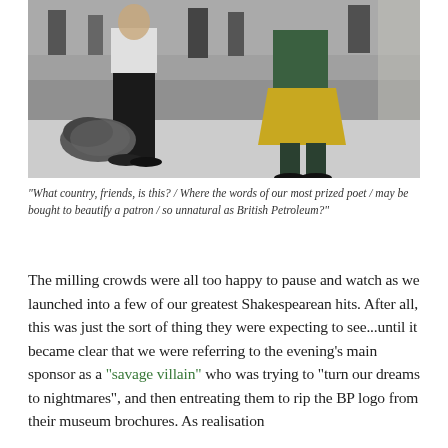[Figure (photo): Black and white/desaturated photo of people in what appears to be a museum or public hall. A person in dark trousers and white shirt stands on the left, another person wearing a green top and yellow skirt stands on the right. A bag or bundle lies on the floor between them. Background shows other visitors.]
"What country, friends, is this? / Where the words of our most prized poet / may be bought to beautify a patron / so unnatural as British Petroleum?"
The milling crowds were all too happy to pause and watch as we launched into a few of our greatest Shakespearean hits. After all, this was just the sort of thing they were expecting to see...until it became clear that we were referring to the evening’s main sponsor as a “savage villain” who was trying to “turn our dreams to nightmares”, and then entreating them to rip the BP logo from their museum brochures. As realisation